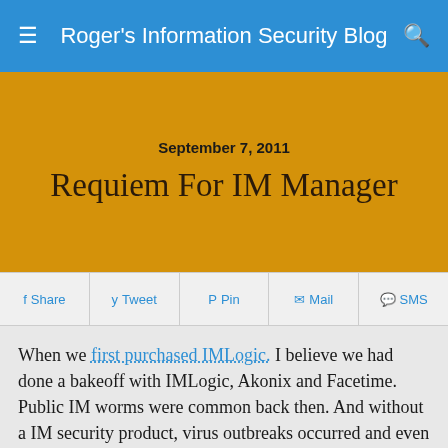Roger's Information Security Blog
September 7, 2011
Requiem For IM Manager
Share  Tweet  Pin  Mail  SMS
When we first purchased IMLogic.  I believe we had done a bakeoff with IMLogic, Akonix and Facetime.  Public IM worms were common back then.   And without a IM security product, virus outbreaks occurred and even when no infection occurred the help desk would get flooded with calls from people who got the viral message but didn't click on the link.